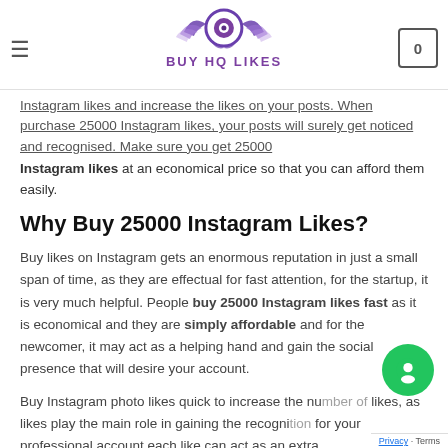Buy HQ Likes
Instagram likes and increase the likes on your posts. When purchase 25000 Instagram likes, your posts will surely get noticed and recognised. Make sure you get 25000 Instagram likes at an economical price so that you can afford them easily.
Why Buy 25000 Instagram Likes?
Buy likes on Instagram gets an enormous reputation in just a small span of time, as they are effectual for fast attention, for the startup, it is very much helpful. People buy 25000 Instagram likes fast as it is economical and they are simply affordable and for the newcomer, it may act as a helping hand and gain the social presence that will desire your account.
Buy Instagram photo likes quick to increase the number of likes, as likes play the main role in gaining the recognition for your professional account each like can act as an extra